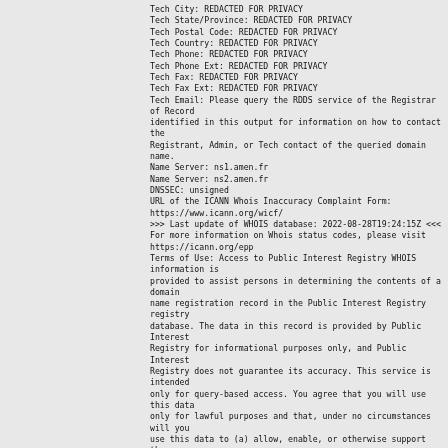Tech City: REDACTED FOR PRIVACY
Tech State/Province: REDACTED FOR PRIVACY
Tech Postal Code: REDACTED FOR PRIVACY
Tech Country: REDACTED FOR PRIVACY
Tech Phone: REDACTED FOR PRIVACY
Tech Phone Ext: REDACTED FOR PRIVACY
Tech Fax: REDACTED FOR PRIVACY
Tech Fax Ext: REDACTED FOR PRIVACY
Tech Email: Please query the RDDS service of the Registrar of Record identified in this output for information on how to contact the Registrant, Admin, or Tech contact of the queried domain name.
Name Server: ns1.amen.fr
Name Server: ns2.amen.fr
DNSSEC: unsigned
URL of the ICANN Whois Inaccuracy Complaint Form:
https://www.icann.org/wicf/
>>> Last update of WHOIS database: 2022-08-28T19:24:15Z <<<
For more information on Whois status codes, please visit
https://icann.org/epp
Terms of Use: Access to Public Interest Registry WHOIS information is provided to assist persons in determining the contents of a domain name registration record in the Public Interest Registry registry database. The data in this record is provided by Public Interest Registry for informational purposes only, and Public Interest Registry does not guarantee its accuracy. This service is intended only for query-based access. You agree that you will use this data only for lawful purposes and that, under no circumstances will you use this data to (a) allow, enable, or otherwise support the transmission by e-mail, telephone, or facsimile of mass unsolicited, commercial advertising or solicitations to entities other than the data recipient's own existing customers; or (b) enable high volume, automated, electronic processes that send queries or data to the systems of Registry Operator, a Registrar, or Donuts except as reasonably necessary to register domain names or modify existing registrations. All rights reserved. Public Interest Registry reserves the right to modify these terms at any time. By submitting this query, you agree to abide by this policy.  The Registrar of Record identified in this output may have an RDDS service that can be queried for additional information on how to contact the Registrant, Admin, or Tech contact of the queried domain name.